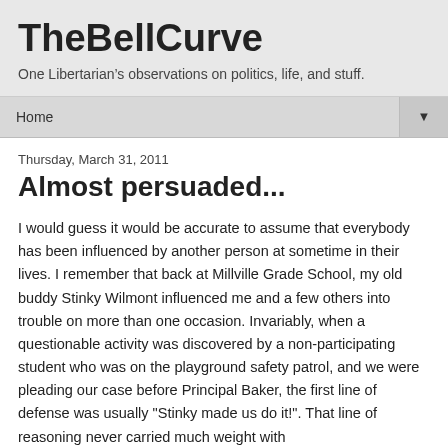TheBellCurve
One Libertarian's observations on politics, life, and stuff.
Home
Thursday, March 31, 2011
Almost persuaded...
I would guess it would be accurate to assume that everybody has been influenced by another person at sometime in their lives. I remember that back at Millville Grade School, my old buddy Stinky Wilmont influenced me and a few others into trouble on more than one occasion. Invariably, when a questionable activity was discovered by a non-participating student who was on the playground safety patrol, and we were pleading our case before Principal Baker, the first line of defense was usually "Stinky made us do it!". That line of reasoning never carried much weight with